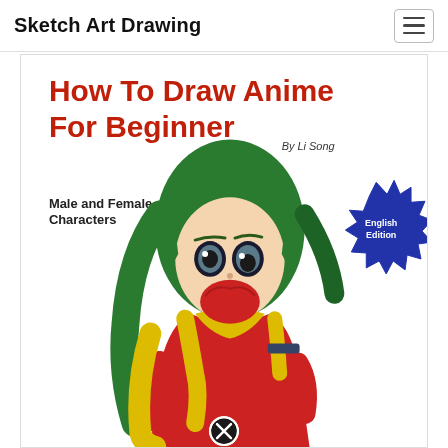Sketch Art Drawing
[Figure (illustration): Book cover of 'How To Draw Anime For Beginner' by Li Song, showing an anime girl with green hair in a red and yellow outfit. Text reads 'Male and Female Characters' and 'English Edition' badge. A close/cancel button (circled X) appears at the bottom center of the image.]